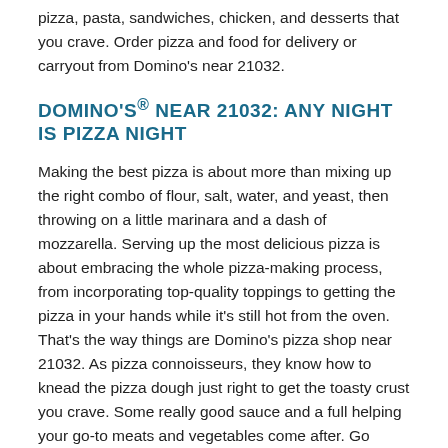pizza, pasta, sandwiches, chicken, and desserts that you crave. Order pizza and food for delivery or carryout from Domino's near 21032.
DOMINO'S® NEAR 21032: ANY NIGHT IS PIZZA NIGHT
Making the best pizza is about more than mixing up the right combo of flour, salt, water, and yeast, then throwing on a little marinara and a dash of mozzarella. Serving up the most delicious pizza is about embracing the whole pizza-making process, from incorporating top-quality toppings to getting the pizza in your hands while it's still hot from the oven. That's the way things are Domino's pizza shop near 21032. As pizza connoisseurs, they know how to knead the pizza dough just right to get the toasty crust you crave. Some really good sauce and a full helping your go-to meats and vegetables come after. Go crazy with a pizza recipe that's all your own or find comfort in something traditional. Your Crownsville Domino's pizza place near 21032 welcomes all cravings. It's where you'll enjoy plenty of made-to-order options and mouth-watering pizza to go around! Domino's Crownsville pizza coupons help you keep cash in your pocket, and courteous delivery drivers make sure your food is delivered just the way you